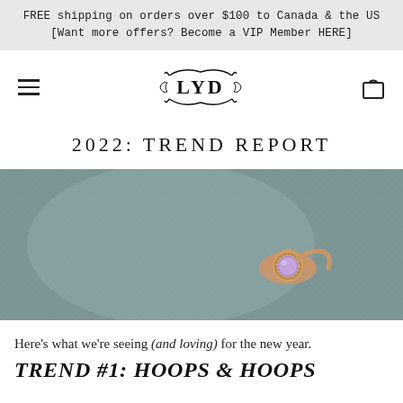FREE shipping on orders over $100 to Canada & the US
[Want more offers? Become a VIP Member HERE]
[Figure (logo): LYD brand logo with ornamental flourishes, hamburger menu icon on left, shopping bag icon on right]
2022: TREND REPORT
[Figure (photo): Close-up photo of a rose gold ring with a purple/amethyst gemstone set on a muted teal-grey fabric background]
Here's what we're seeing (and loving) for the new year.
TREND #1: HOOPS & HOOPS